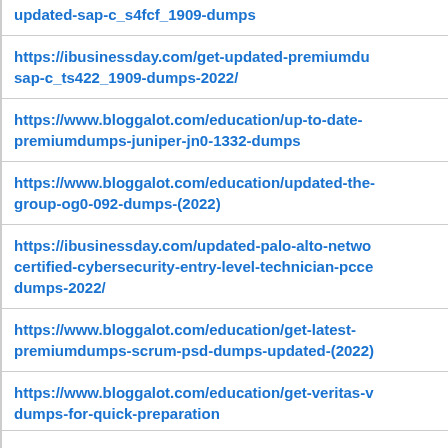updated-sap-c_s4fcf_1909-dumps
https://ibusinessday.com/get-updated-premiumdumps-sap-c_ts422_1909-dumps-2022/
https://www.bloggalot.com/education/up-to-date-premiumdumps-juniper-jn0-1332-dumps
https://www.bloggalot.com/education/updated-the-group-og0-092-dumps-(2022)
https://ibusinessday.com/updated-palo-alto-networks-certified-cybersecurity-entry-level-technician-pcce-dumps-2022/
https://www.bloggalot.com/education/get-latest-premiumdumps-scrum-psd-dumps-updated-(2022)
https://www.bloggalot.com/education/get-veritas-v-dumps-for-quick-preparation